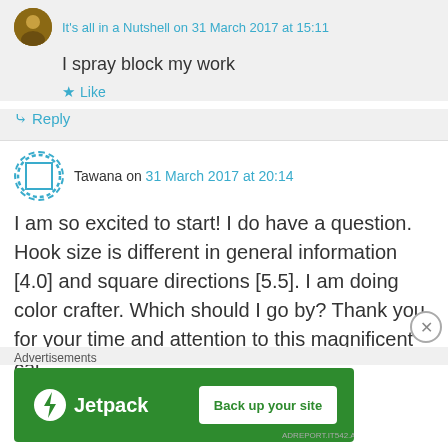It's all in a Nutshell on 31 March 2017 at 15:11
I spray block my work
Like
Reply
Tawana on 31 March 2017 at 20:14
I am so excited to start! I do have a question. Hook size is different in general information [4.0] and square directions [5.5]. I am doing color crafter. Which should I go by? Thank you for your time and attention to this magnificent cal.
Advertisements
[Figure (screenshot): Jetpack advertisement banner with green background, Jetpack logo on left and 'Back up your site' button on right]